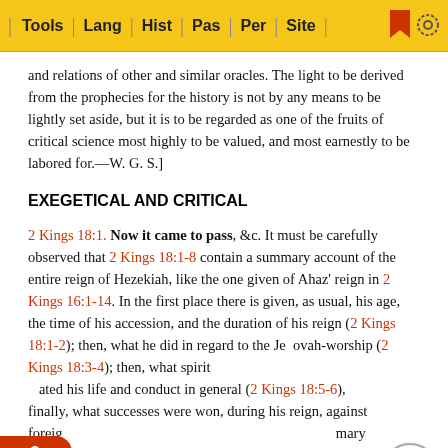Tools | Lang | Hist | Pas | Per | Site
and relations of other and similar oracles. The light to be derived from the prophecies for the history is not by any means to be lightly set aside, but it is to be regarded as one of the fruits of critical science most highly to be valued, and most earnestly to be labored for.—W. G. S.]
EXEGETICAL AND CRITICAL
2 Kings 18:1. Now it came to pass, &c. It must be carefully observed that 2 Kings 18:1-8 contain a summary account of the entire reign of Hezekiah, like the one given of Ahaz' reign in 2 Kings 16:1-14. In the first place there is given, as usual, his age, the time of his accession, and the duration of his reign (2 Kings 18:1-2); then, what he did in regard to the Jehovah-worship (2 Kings 18:3-4); then, what spirit animated his life and conduct in general (2 Kings 18:5-6); finally, what successes were won, during his reign, against foreign … mary follow